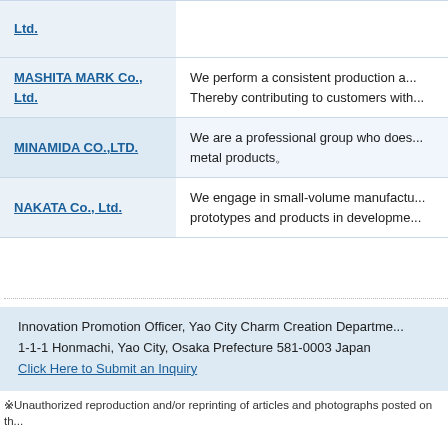| Company | Description |
| --- | --- |
| Ltd. |  |
| MASHITA MARK Co., Ltd. | We perform a consistent production and... Thereby contributing to customers with... |
| MINAMIDA CO.,LTD. | We are a professional group who does... metal products。 |
| NAKATA Co., Ltd. | We engage in small-volume manufactu... prototypes and products in developme... |
Innovation Promotion Officer, Yao City Charm Creation Department...
1-1-1 Honmachi, Yao City, Osaka Prefecture 581-0003 Japan
Click Here to Submit an Inquiry
※Unauthorized reproduction and/or reprinting of articles and photographs posted on th...